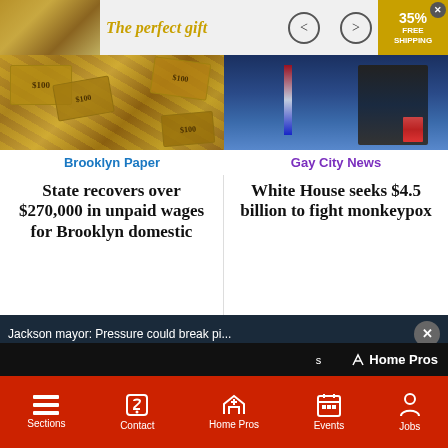[Figure (screenshot): Ad banner: 'The perfect gift' text in gold italic with left/right navigation arrows, and a promotional badge showing 35% off and FREE SHIPPING]
[Figure (photo): Photo of scattered US dollar bills (left top)]
[Figure (photo): Photo of official/politician at podium with US flag (right top)]
Brooklyn Paper
State recovers over $270,000 in unpaid wages for Brooklyn domestic
Gay City News
White House seeks $4.5 billion to fight monkeypox
Jackson mayor: Pressure could break pi...
[Figure (photo): Video still: outdoor scene with crowd of people standing near vehicles, appears to be water distribution event in Jackson]
s
Home Pros
Sections
Contact
Home Pros
Events
Jobs